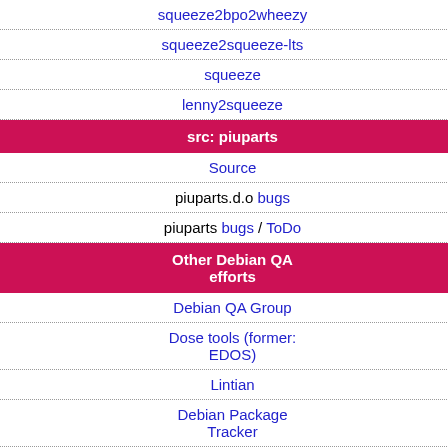squeeze2bpo2wheezy
squeeze2squeeze-lts
squeeze
lenny2squeeze
src: piuparts
Source
piuparts.d.o bugs
piuparts bugs / ToDo
Other Debian QA efforts
Debian QA Group
Dose tools (former: EDOS)
Lintian
Debian Package Tracker
Ultimate Debian Database
jenkins.debian.net
| Field | Value |
| --- | --- |
| Source: | libmr-tarantool-pe… |
| Maintainer: | Debian Perl Group |
| Uploaders: | Dmitry E. Oboukh… |
| Binary: | libmr-tarantool-perl:all |
| Field | Value |
| --- | --- |
| Source: | tarantool |
| Maintainer: | Roman Tsisyk <ro… |
| Uploaders: | Dmitry E. Oboukh… |
| Binary: | tarantool |
| Binary: | tarantool-common:all |
| Binary: | tarantool-dev |
| Field | Value |
| --- | --- |
| Source: | tarantool-lts |